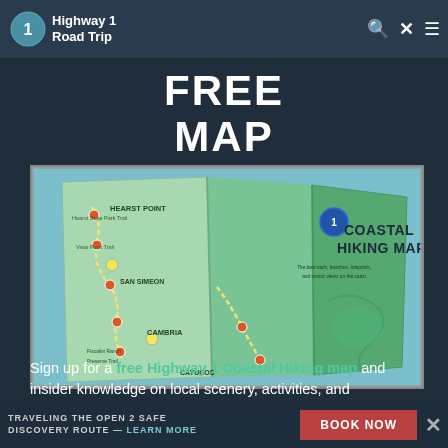Highway 1 Road Trip
FREE MAP
[Figure (map): A folded coastal hiking map showing the Highway 1 coastline with labels including Hearst Point, San Simeon, Cambria, Cayucos, and 'COASTAL HIKING MAP' text on the green cover panel.]
Sign up for a free Highway 1 Coastal Hiking map and insider knowledge on local scenery, activities, and adventures.
TRAVELING THE OPEN 2 SAFE DISCOVERY ROUTE — LEARN MORE | BOOK NOW